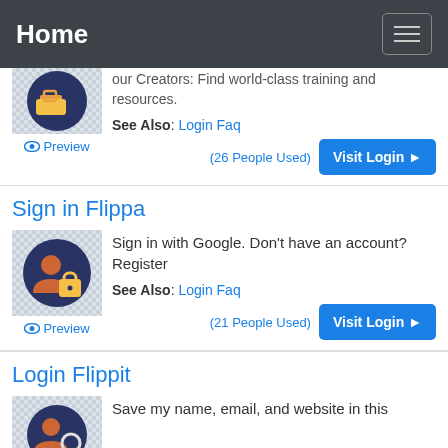Home
our Creators: Find world-class training and resources.
See Also: Login Faq
(26 People Used)
Visit Login
Sign in Flippa
Sign in with Google. Don't have an account? Register
See Also: Login Faq
(21 People Used)
Visit Login
Login Flippit
Save my name, email, and website in this